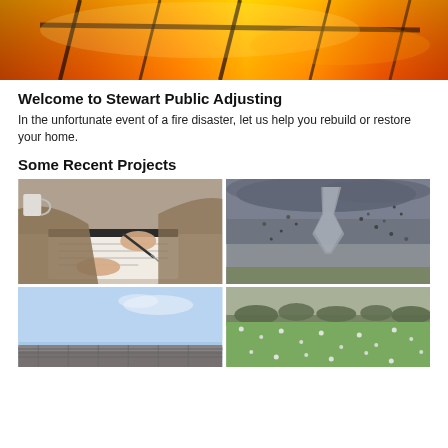[Figure (photo): Fire disaster photo banner — orange and yellow flames engulfing a structure with silhouetted beams]
Welcome to Stewart Public Adjusting
In the unfortunate event of a fire disaster, let us help you rebuild or restore your home.
Some Recent Projects
[Figure (photo): Person filling out paperwork/claim form on a clipboard with a pen — adjuster at work]
[Figure (photo): Tornado touching down with debris swirling in dark stormy sky]
[Figure (photo): Roof/building exterior against blue sky]
[Figure (photo): Hail falling on green grass field with trees in background]